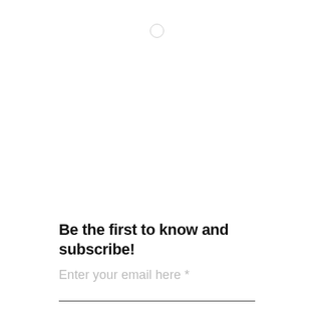[Figure (other): Small light gray circle icon centered near the top of the page]
Be the first to know and subscribe!
Enter your email here *